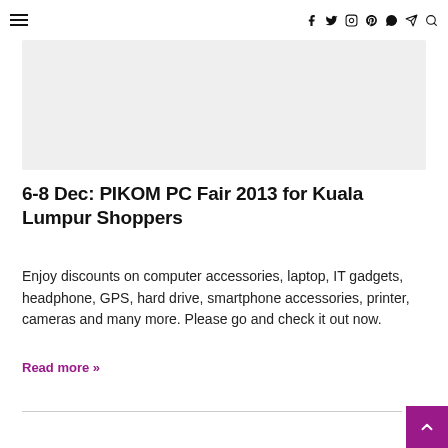≡ f t ⊙ p ❤ ✈ 🔍
[Figure (photo): Grey placeholder image rectangle]
6-8 Dec: PIKOM PC Fair 2013 for Kuala Lumpur Shoppers
Enjoy discounts on computer accessories, laptop, IT gadgets, headphone, GPS, hard drive, smartphone accessories, printer, cameras and many more. Please go and check it out now.
Read more »